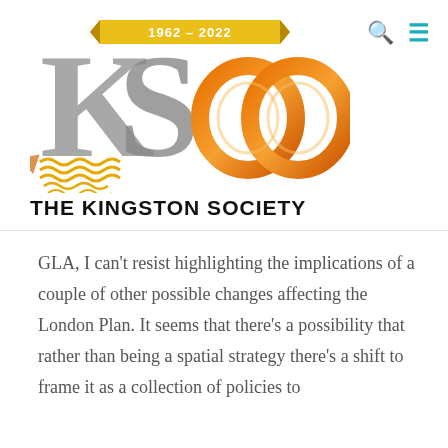[Figure (logo): The Kingston Society 60th anniversary logo (1962-2022): large grey KS letters with 60 in orange rings, gold banner reading '1962-2022', gold wave decoration at lower left, text 'THE KINGSTON SOCIETY' beneath]
GLA, I can't resist highlighting the implications of a couple of other possible changes affecting the London Plan. It seems that there's a possibility that rather than being a spatial strategy there's a shift to frame it as a collection of policies to